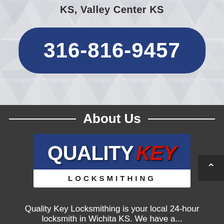KS, Valley Center KS
316-816-9457
About Us
[Figure (logo): Quality Key Locksmithing logo — dark blue background with white QUALITY and red KEY text, white banner below with LOCKSMITHING in black letters]
Quality Key Locksmithing is your local 24-hour locksmith in Wichita KS. We have a...